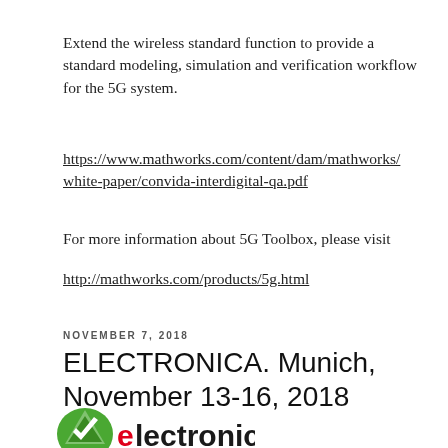Extend the wireless standard function to provide a standard modeling, simulation and verification workflow for the 5G system.
https://www.mathworks.com/content/dam/mathworks/white-paper/convida-interdigital-qa.pdf
For more information about 5G Toolbox, please visit
http://mathworks.com/products/5g.html
NOVEMBER 7, 2018
ELECTRONICA. Munich, November 13-16, 2018
[Figure (logo): Electronica logo with green triangle/mountain icon and red 'e' followed by black 'lectronica' text]